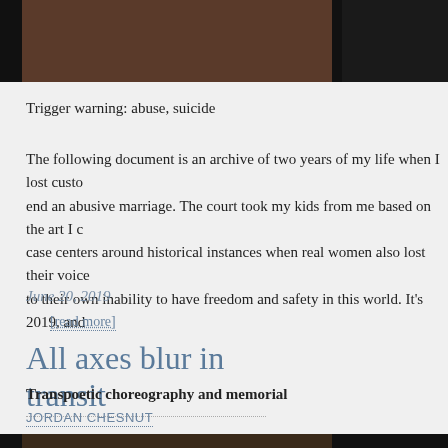[Figure (photo): Top portion of a photo showing what appears to be a person, partially cropped, against a dark background]
Trigger warning: abuse, suicide
The following document is an archive of two years of my life when I lost custody end an abusive marriage. The court took my kids from me based on the art I c case centers around historical instances when real women also lost their voice to their own inability to have freedom and safety in this world. It's 2019, and
June 20, 2019
[read more]
All axes blur in transit
Transpoetic choreography and memorial
JORDAN CHESNUT
[Figure (photo): Bottom portion of a photo showing stained glass lamps, a clock, and a neon OPEN sign in a dark setting]